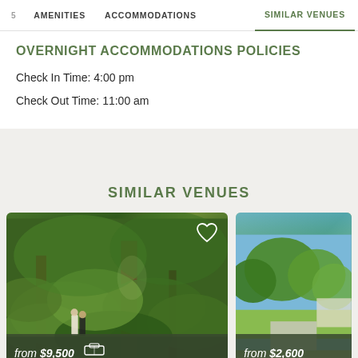AMENITIES  ACCOMMODATIONS  SIMILAR VENUES
OVERNIGHT ACCOMMODATIONS POLICIES
Check In Time: 4:00 pm
Check Out Time: 11:00 am
SIMILAR VENUES
[Figure (photo): Wedding venue card showing a forest scene with a couple standing among lush ferns and tall trees. Price badge at the bottom reads 'from $9,500' with a bed/accommodation icon.]
[Figure (photo): Wedding venue card showing a garden/outdoor scene with green trees and lawn. Price badge at the bottom reads 'from $2,600'.]